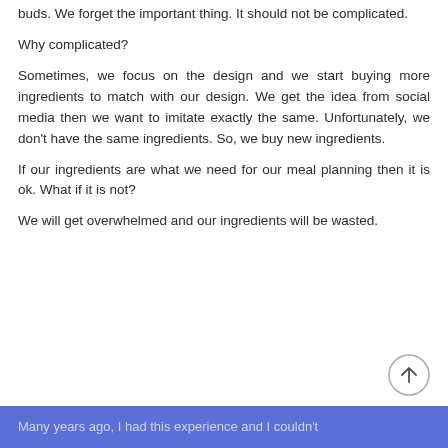buds. We forget the important thing. It should not be complicated.
Why complicated?
Sometimes, we focus on the design and we start buying more ingredients to match with our design. We get the idea from social media then we want to imitate exactly the same. Unfortunately, we don't have the same ingredients. So, we buy new ingredients.
If our ingredients are what we need for our meal planning then it is ok. What if it is not?
We will get overwhelmed and our ingredients will be wasted.
Many years ago, I had this experience and I couldn't